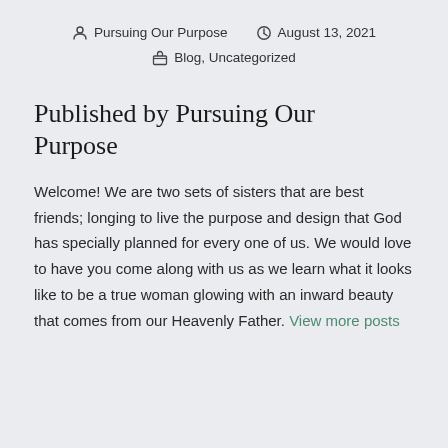Pursuing Our Purpose  August 13, 2021  Blog, Uncategorized
Published by Pursuing Our Purpose
Welcome! We are two sets of sisters that are best friends; longing to live the purpose and design that God has specially planned for every one of us. We would love to have you come along with us as we learn what it looks like to be a true woman glowing with an inward beauty that comes from our Heavenly Father. View more posts